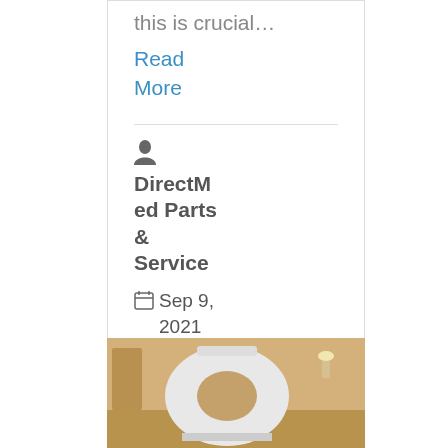this is crucial…
Read More
DirectMed Parts & Service
Sep 9, 2021
0
[Figure (photo): Medical imaging equipment (MRI scanner) in a room]